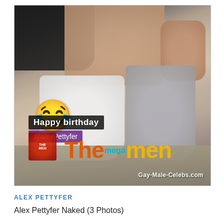[Figure (photo): A photo showing two people from torso down, one in white shorts and one in gray shorts. A laughing emoji is overlaid on the left. Text overlays include 'Happy birthday', '@alexPettyfer', and 'TheMen' watermark logo. Website watermark reads 'Gay-Male-Celebs.com'.]
ALEX PETTYFER
Alex Pettyfer Naked (3 Photos)